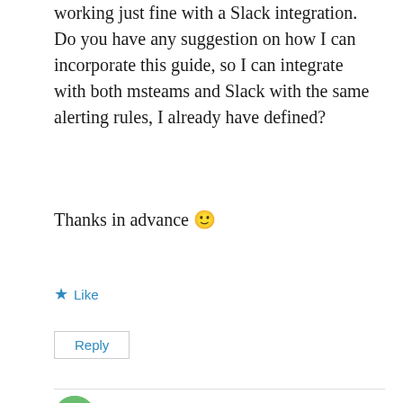working just fine with a Slack integration. Do you have any suggestion on how I can incorporate this guide, so I can integrate with both msteams and Slack with the same alerting rules, I already have defined?
Thanks in advance 🙂
★ Like
Reply
Jon Eden
May 26, 2021 at 4:26 pm